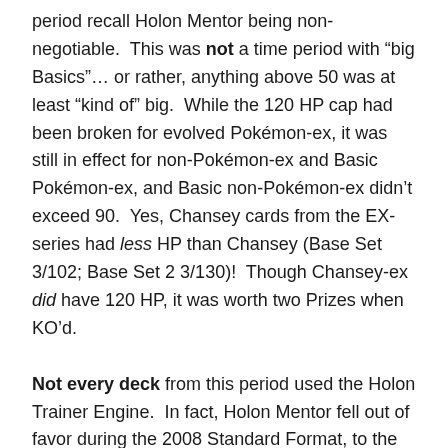period recall Holon Mentor being non-negotiable. This was not a time period with “big Basics”… or rather, anything above 50 was at least “kind of” big. While the 120 HP cap had been broken for evolved Pokémon-ex, it was still in effect for non-Pokémon-ex and Basic Pokémon-ex, and Basic non-Pokémon-ex didn’t exceed 90. Yes, Chansey cards from the EX-series had less HP than Chansey (Base Set 3/102; Base Set 2 3/130)! Though Chansey-ex did have 120 HP, it was worth two Prizes when KO’d.
Not every deck from this period used the Holon Trainer Engine. In fact, Holon Mentor fell out of favor during the 2008 Standard Format, to the point I almost missed that it was still legal (due to its reprint in EX – Dragon Frontiers). As we’re discussing things from long, long before LimitlessTCG was tracking tournament results, all I can reference are the World Championship...